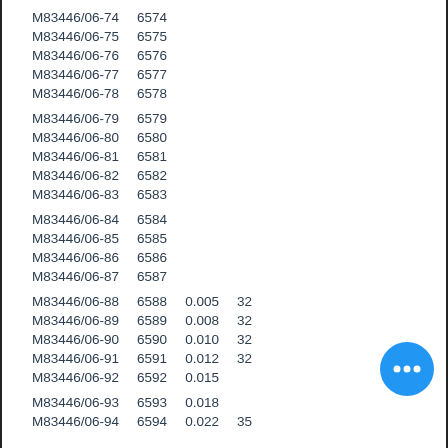| M83446/06-74 | 6574 |  |  |
| M83446/06-75 | 6575 |  |  |
| M83446/06-76 | 6576 |  |  |
| M83446/06-77 | 6577 |  |  |
| M83446/06-78 | 6578 |  |  |
|  |  |  |  |
| M83446/06-79 | 6579 |  |  |
| M83446/06-80 | 6580 |  |  |
| M83446/06-81 | 6581 |  |  |
| M83446/06-82 | 6582 |  |  |
| M83446/06-83 | 6583 |  |  |
|  |  |  |  |
| M83446/06-84 | 6584 |  |  |
| M83446/06-85 | 6585 |  |  |
| M83446/06-86 | 6586 |  |  |
| M83446/06-87 | 6587 |  |  |
|  |  |  |  |
| M83446/06-88 | 6588 | 0.005 | 32 |
| M83446/06-89 | 6589 | 0.008 | 32 |
| M83446/06-90 | 6590 | 0.010 | 32 |
| M83446/06-91 | 6591 | 0.012 | 32 |
| M83446/06-92 | 6592 | 0.015 |  |
|  |  |  |  |
| M83446/06-93 | 6593 | 0.018 |  |
| M83446/06-94 | 6594 | 0.022 | 35 |